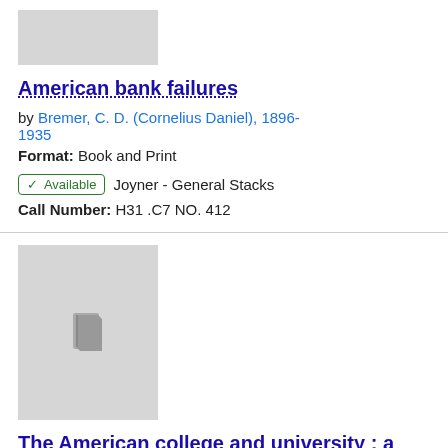[Figure (other): Gray placeholder thumbnail for book cover]
American bank failures
by Bremer, C. D. (Cornelius Daniel), 1896-1935
Format: Book and Print
✓ Available   Joyner - General Stacks
Call Number: H31 .C7 NO. 412
[Figure (illustration): Gray thumbnail with small 3D book icon]
The American college and university ; a human fellowship
by Thwing, Charles Franklin, 1853-1937
1935
Format: Book and Print